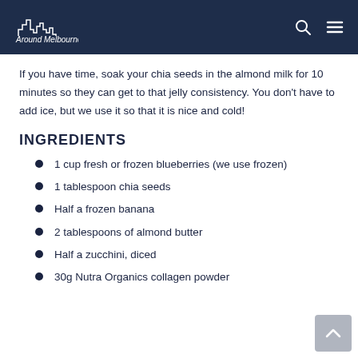Around Melbourne
If you have time, soak your chia seeds in the almond milk for 10 minutes so they can get to that jelly consistency. You don't have to add ice, but we use it so that it is nice and cold!
INGREDIENTS
1 cup fresh or frozen blueberries (we use frozen)
1 tablespoon chia seeds
Half a frozen banana
2 tablespoons of almond butter
Half a zucchini, diced
30g Nutra Organics collagen powder